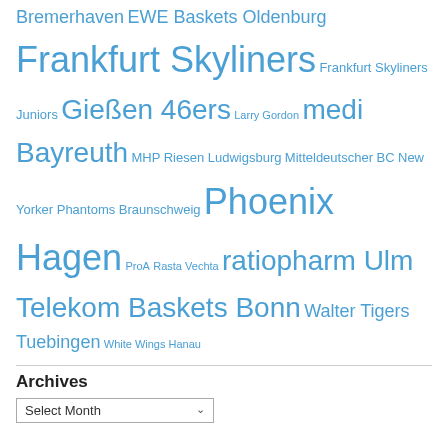Bremerhaven EWE Baskets Oldenburg Frankfurt Skyliners Frankfurt Skyliners Juniors Gießen 46ers Larry Gordon medi Bayreuth MHP Riesen Ludwigsburg Mitteldeutscher BC New Yorker Phantoms Braunschweig Phoenix Hagen ProA Rasta Vechta ratiopharm Ulm Telekom Baskets Bonn Walter Tigers Tuebingen White Wings Hanau
Archives
Select Month
TRANSLATE THIS SITE
Albanian Arabic Bulgarian Catalan Chinese Simplified Chinese